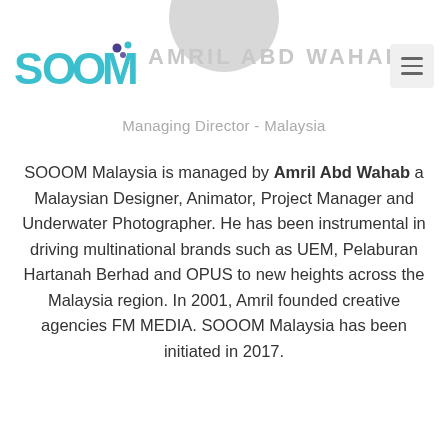[Figure (logo): SOOOM company logo in teal/cyan color with decorative dots above the M]
AMRIL ABD WAHAB
Managing Director - Malaysia
SOOOM Malaysia is managed by Amril Abd Wahab a Malaysian Designer, Animator, Project Manager and Underwater Photographer. He has been instrumental in driving multinational brands such as UEM, Pelaburan Hartanah Berhad and OPUS to new heights across the Malaysia region. In 2001, Amril founded creative agencies FM MEDIA. SOOOM Malaysia has been initiated in 2017.